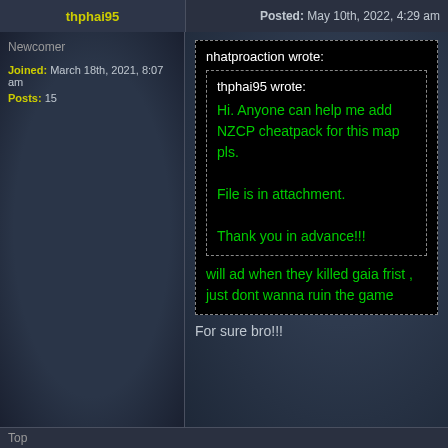thphai95 | Post subject: Re: [NZCP] TWRPG v0.68a | Posted: May 10th, 2022, 4:29 am
Newcomer
Joined: March 18th, 2021, 8:07 am
Posts: 15
nhatproaction wrote:
thphai95 wrote:
Hi. Anyone can help me add NZCP cheatpack for this map pls.

File is in attachment.

Thank you in advance!!!

will ad when they killed gaia frist , just dont wanna ruin the game
For sure bro!!!
Top